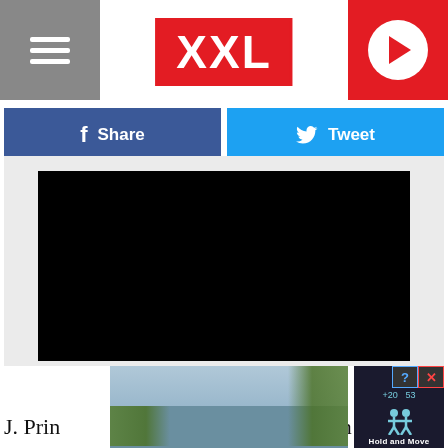XXL
Share
Tweet
[Figure (screenshot): Black video player embedded in a light gray container]
[Figure (screenshot): Advertisement overlay showing Hold and Move with timer +20 and 53, question mark and X buttons, and figure icon]
[Figure (photo): Outdoor photo showing trees and sky in the background]
J. Prin… …n on